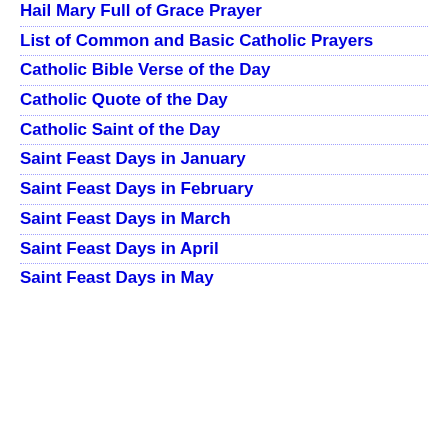Hail Mary Full of Grace Prayer
List of Common and Basic Catholic Prayers
Catholic Bible Verse of the Day
Catholic Quote of the Day
Catholic Saint of the Day
Saint Feast Days in January
Saint Feast Days in February
Saint Feast Days in March
Saint Feast Days in April
Saint Feast Days in May